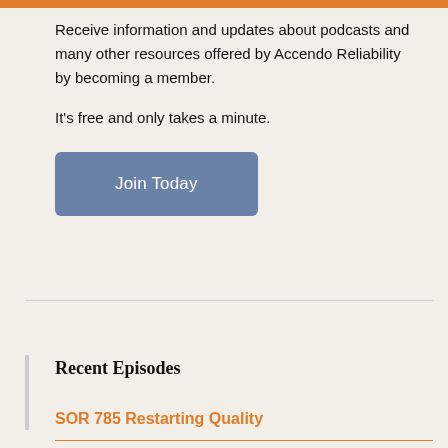Receive information and updates about podcasts and many other resources offered by Accendo Reliability by becoming a member.
It's free and only takes a minute.
Join Today
Recent Episodes
SOR 785 Restarting Quality